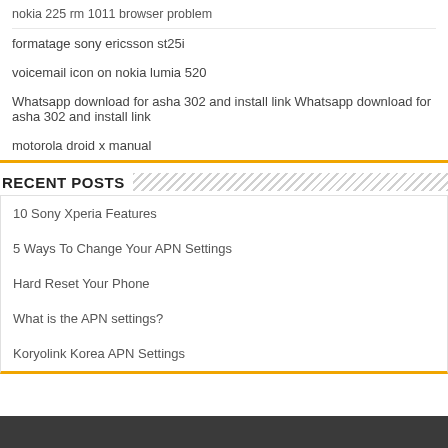nokia 225 rm 1011 browser problem
formatage sony ericsson st25i
voicemail icon on nokia lumia 520
Whatsapp download for asha 302 and install link Whatsapp download for asha 302 and install link
motorola droid x manual
RECENT POSTS
10 Sony Xperia Features
5 Ways To Change Your APN Settings
Hard Reset Your Phone
What is the APN settings?
Koryolink Korea APN Settings